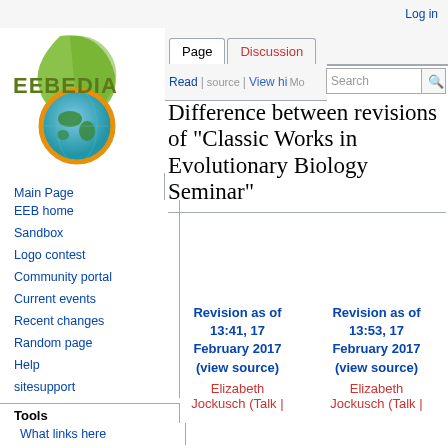Log in
[Figure (logo): EEBEDIA wiki logo with globe and green leaf]
Page | Discussion | Read | View source | View history | More | Search
Difference between revisions of "Classic Works in Evolutionary Biology Seminar"
Main Page
EEB home
Sandbox
Logo contest
Community portal
Current events
Recent changes
Random page
Help
sitesupport
Tools
What links here
Related changes
| Revision as of 13:41, 17 February 2017 (view source) | Revision as of 13:53, 17 February 2017 (view source) |
| --- | --- |
| Elizabeth Jockusch (Talk | | Elizabeth Jockusch (Talk | |